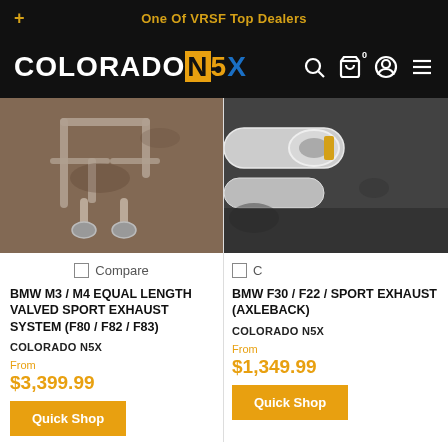+ One Of VRSF Top Dealers
[Figure (logo): ColoradoN5X logo in white with colored letters on black background, with search, cart, account, and menu icons]
[Figure (photo): BMW M3/M4 exhaust system laid out on a surface, viewed from above]
[Figure (photo): BMW F30/F22 exhaust system closeup, partial view cut off at right edge]
Compare
Compare
BMW M3 / M4 EQUAL LENGTH VALVED SPORT EXHAUST SYSTEM (F80 / F82 / F83)
BMW F30 / F22 / SPORT EXHAUST (AXLEBACK)
COLORADO N5X
COLORADO N5X
From
$3,399.99
From
$1,349.99
Quick Shop
Quick Shop